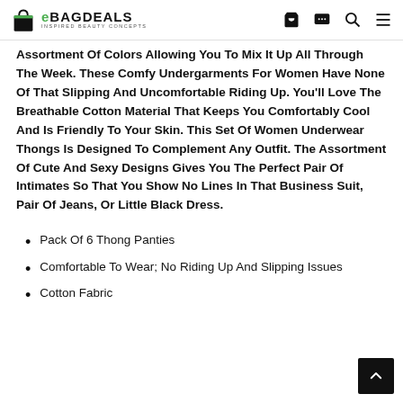eBagDeals - Inspired Beauty Concepts
Assortment Of Colors Allowing You To Mix It Up All Through The Week. These Comfy Undergarments For Women Have None Of That Slipping And Uncomfortable Riding Up. You'll Love The Breathable Cotton Material That Keeps You Comfortably Cool And Is Friendly To Your Skin. This Set Of Women Underwear Thongs Is Designed To Complement Any Outfit. The Assortment Of Cute And Sexy Designs Gives You The Perfect Pair Of Intimates So That You Show No Lines In That Business Suit, Pair Of Jeans, Or Little Black Dress.
Pack Of 6 Thong Panties
Comfortable To Wear; No Riding Up And Slipping Issues
Cotton Fabric